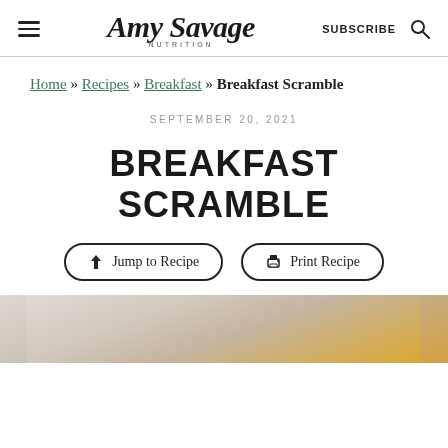Amy Savage Nutrition — SUBSCRIBE [search icon]
Home » Recipes » Breakfast » Breakfast Scramble
SEPTEMBER 20, 2021
BREAKFAST SCRAMBLE
↓ Jump to Recipe   🖨 Print Recipe
[Figure (photo): Partial view of a breakfast scramble dish photographed from above on a white/grey surface]